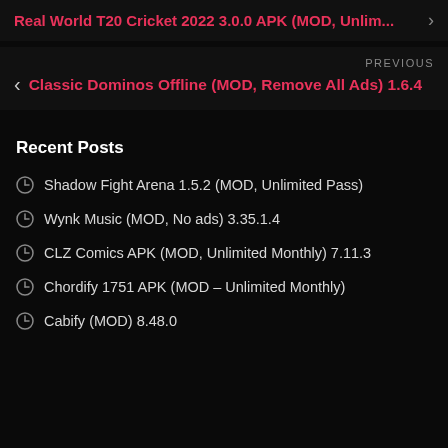Real World T20 Cricket 2022 3.0.0 APK (MOD, Unlim...
PREVIOUS
Classic Dominos Offline (MOD, Remove All Ads) 1.6.4
Recent Posts
Shadow Fight Arena 1.5.2 (MOD, Unlimited Pass)
Wynk Music (MOD, No ads) 3.35.1.4
CLZ Comics APK (MOD, Unlimited Monthly) 7.11.3
Chordify 1751 APK (MOD – Unlimited Monthly)
Cabify (MOD) 8.48.0